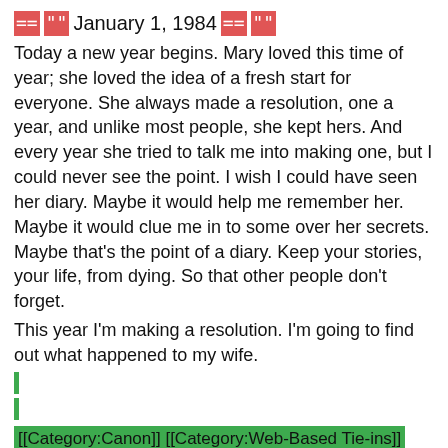== "" January 1, 1984 ==""
Today a new year begins. Mary loved this time of year; she loved the idea of a fresh start for everyone. She always made a resolution, one a year, and unlike most people, she kept hers. And every year she tried to talk me into making one, but I could never see the point. I wish I could have seen her diary. Maybe it would help me remember her. Maybe it would clue me in to some over her secrets. Maybe that's the point of a diary. Keep your stories, your life, from dying. So that other people don't forget.
This year I'm making a resolution. I'm going to find out what happened to my wife.
[[Category:Canon]] [[Category:Web-Based Tie-ins]] [[Category:Library]][[Category:Books & Technology]]